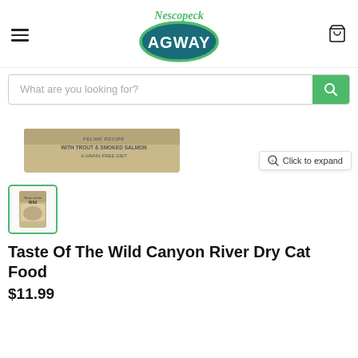Nescopeck AGWAY
[Figure (screenshot): Search bar with placeholder text 'What are you looking for?' and green search button]
[Figure (photo): Taste of the Wild Canyon River cat food bag, top partial view, showing 'WITH TROUT & SMOKED SALMON A GRAIN-FREE DIET'. Click to expand button visible.]
[Figure (photo): Thumbnail image of Taste of the Wild Canyon River dry cat food bag with green border indicating selected state]
Taste Of The Wild Canyon River Dry Cat Food
$11.99